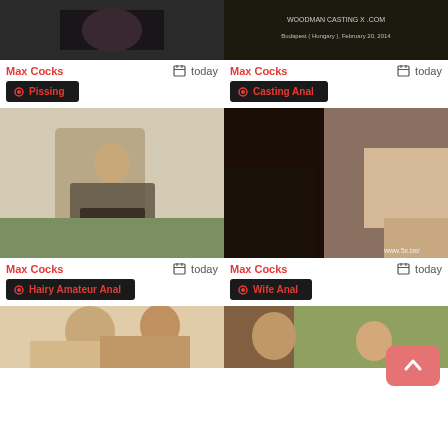[Figure (photo): Video thumbnail 1 - dark scene]
Max Cocks    today
Pissing
[Figure (photo): Video thumbnail 2 - WoodmanCastingX.com watermark]
Max Cocks    today
Casting Anal
[Figure (photo): Video thumbnail 3 - woman in plaid shirt]
Max Cocks    today
Hairy Amateur Anal
[Figure (photo): Video thumbnail 4 - www.5x.be watermark]
Max Cocks    today
Wife Anal
[Figure (photo): Video thumbnail 5 - two people on bed]
[Figure (photo): Video thumbnail 6 - two people outdoors]